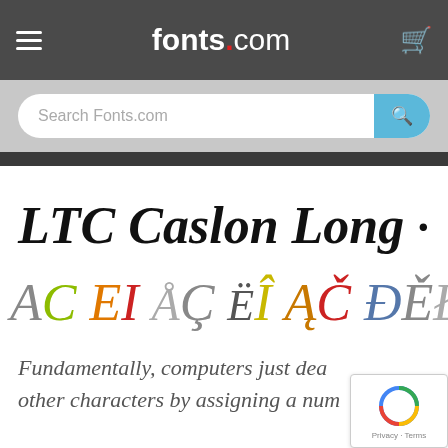fonts.com
Search Fonts.com
LTC Caslon Long
AC EI ÅĢ ËÎ ĄČ ĐĚŁ
Fundamentally, computers just deal other characters by assigning a num